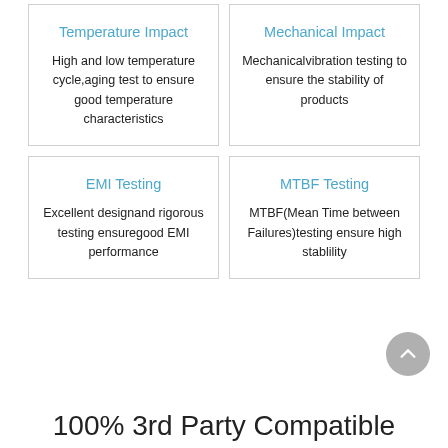Temperature Impact
High and low temperature cycle,aging test to ensure good temperature characteristics
Mechanical Impact
Mechanicalvibration testing to ensure the stability of products
EMI Testing
Excellent designand rigorous testing ensuregood EMI performance
MTBF Testing
MTBF(Mean Time between Failures)testing ensure high stablility
100% 3rd Party Compatible